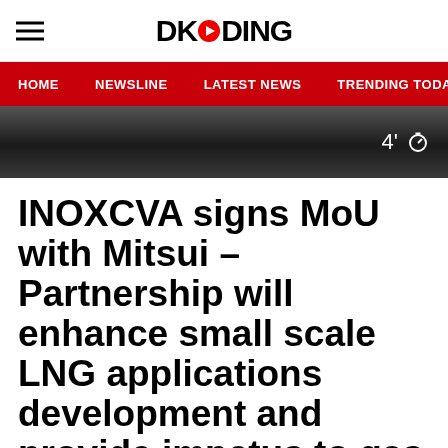DKODING
HOME  NEWSLINE  LATEST NEWS  TRENDING TODAY  ENT
4'
INOXCVA signs MoU with Mitsui – Partnership will enhance small scale LNG applications development and provide impetus to gas based economy in the country
ADVERTISEMENT